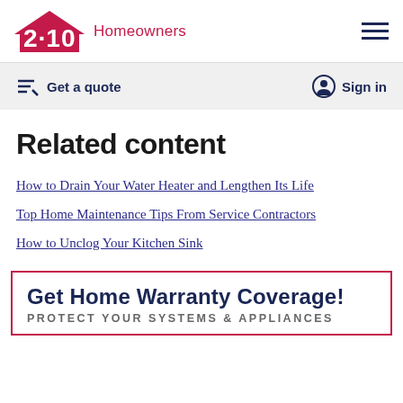2-10 Homeowners
Get a quote    Sign in
Related content
How to Drain Your Water Heater and Lengthen Its Life
Top Home Maintenance Tips From Service Contractors
How to Unclog Your Kitchen Sink
Get Home Warranty Coverage! PROTECT YOUR SYSTEMS & APPLIANCES